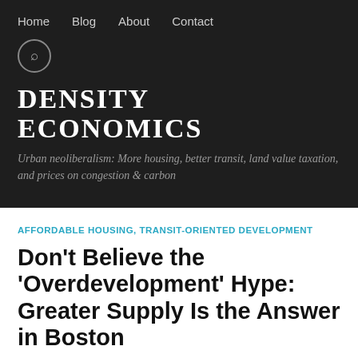Home  Blog  About  Contact
DENSITY ECONOMICS
Urban neoliberalism: More housing, better transit, land value taxation, and prices on congestion & carbon
AFFORDABLE HOUSING, TRANSIT-ORIENTED DEVELOPMENT
Don't Believe the 'Overdevelopment' Hype: Greater Supply Is the Answer in Boston